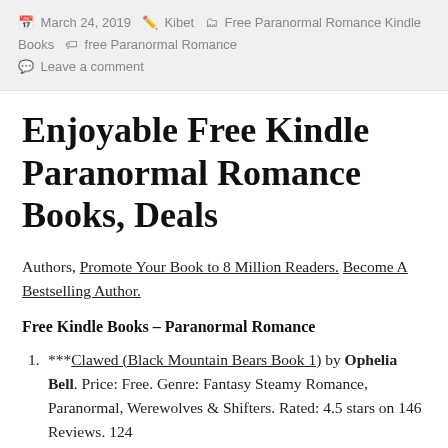March 24, 2019  Kibet  Free Paranormal Romance Kindle Books  free Paranormal Romance  Leave a comment
Enjoyable Free Kindle Paranormal Romance Books, Deals
Authors, Promote Your Book to 8 Million Readers. Become A Bestselling Author.
Free Kindle Books – Paranormal Romance
***Clawed (Black Mountain Bears Book 1) by Ophelia Bell. Price: Free. Genre: Fantasy Steamy Romance, Paranormal, Werewolves & Shifters. Rated: 4.5 stars on 146 Reviews. 124